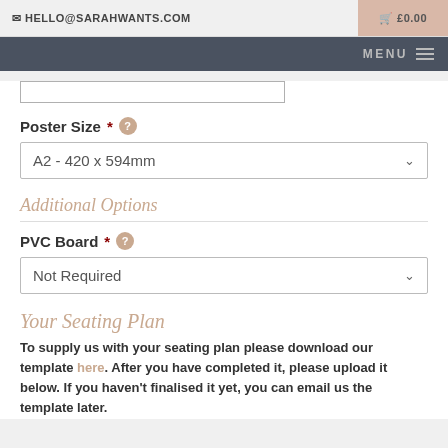HELLO@SARAHWANTS.COM   £0.00
MENU
[Figure (screenshot): Partial image/upload input box visible at top of content area]
Poster Size * ?
A2 - 420 x 594mm
Additional Options
PVC Board * ?
Not Required
Your Seating Plan
To supply us with your seating plan please download our template here. After you have completed it, please upload it below. If you haven't finalised it yet, you can email us the template later.